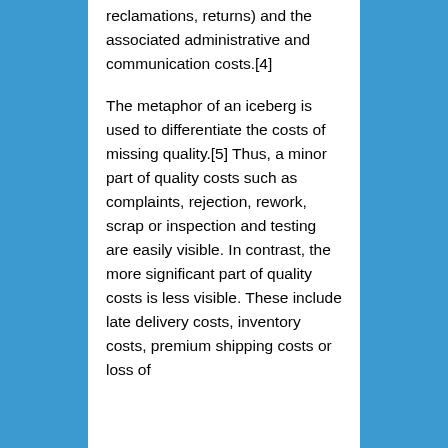reclamations, returns) and the associated administrative and communication costs.[4]
The metaphor of an iceberg is used to differentiate the costs of missing quality.[5] Thus, a minor part of quality costs such as complaints, rejection, rework, scrap or inspection and testing are easily visible. In contrast, the more significant part of quality costs is less visible. These include late delivery costs, inventory costs, premium shipping costs or loss of